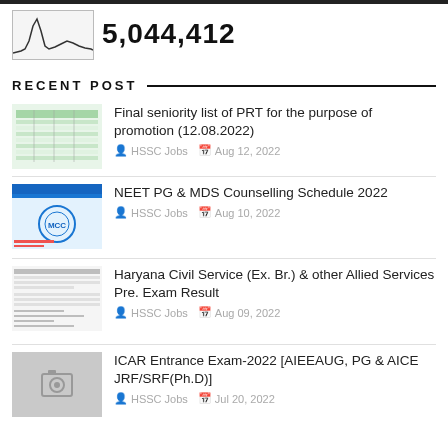[Figure (continuous-plot): Small sparkline/activity chart thumbnail showing traffic or visitor spikes]
5,044,412
RECENT POST
[Figure (screenshot): Thumbnail of a spreadsheet/seniority list document]
Final seniority list of PRT for the purpose of promotion (12.08.2022)
HSSC Jobs  Aug 12, 2022
[Figure (screenshot): Thumbnail of NEET PG & MDS counselling schedule document with MCC logo]
NEET PG & MDS Counselling Schedule 2022
HSSC Jobs  Aug 10, 2022
[Figure (screenshot): Thumbnail of Haryana Civil Service exam result document]
Haryana Civil Service (Ex. Br.) & other Allied Services Pre. Exam Result
HSSC Jobs  Aug 09, 2022
[Figure (photo): Grey placeholder image with camera icon]
ICAR Entrance Exam-2022 [AIEEAUG, PG & AICE JRF/SRF(Ph.D)]
HSSC Jobs  Jul 20, 2022